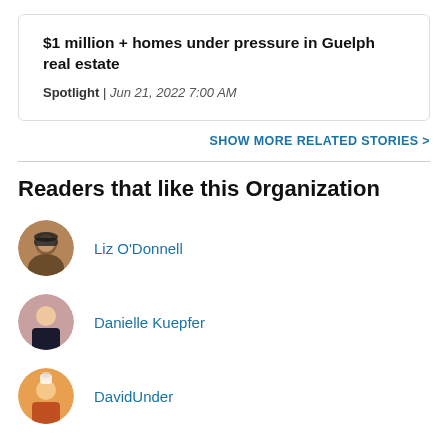$1 million + homes under pressure in Guelph real estate
Spotlight | Jun 21, 2022 7:00 AM
SHOW MORE RELATED STORIES >
Readers that like this Organization
Liz O'Donnell
Danielle Kuepfer
DavidUnder